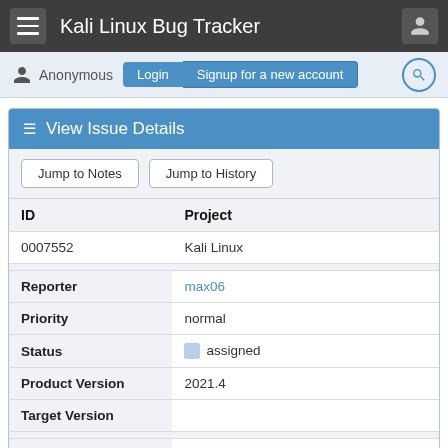Kali Linux Bug Tracker
Anonymous Login Signup for a new account
View Issue Details
| ID | Project |
| --- | --- |
| 0007552 | Kali Linux |
| Reporter | max06 |
| Priority | normal |
| Status | assigned |
| Product Version | 2021.4 |
| Target Version |  |
| Summary | 0007552: Popping Balloons |